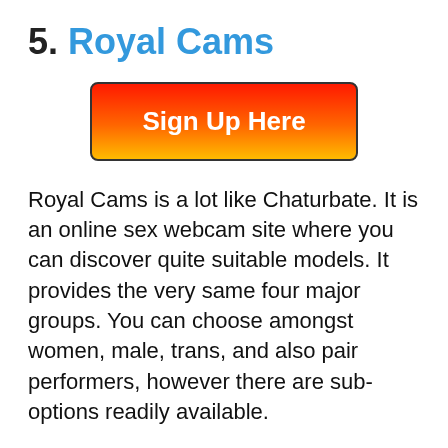5. Royal Cams
[Figure (other): Red to orange-yellow gradient button with text 'Sign Up Here']
Royal Cams is a lot like Chaturbate. It is an online sex webcam site where you can discover quite suitable models. It provides the very same four major groups. You can choose amongst women, male, trans, and also pair performers, however there are sub-options readily available.
You can utilize the site for free as well as browse through real-time designs. If you wish to become part of an exclusive chat